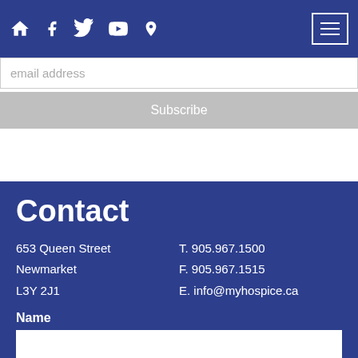Navigation bar with home, facebook, twitter, youtube, location icons and hamburger menu
email address
Subscribe
Contact
653 Queen Street
Newmarket
L3Y 2J1

T. 905.967.1500
F. 905.967.1515
E. info@myhospice.ca
Name
Email